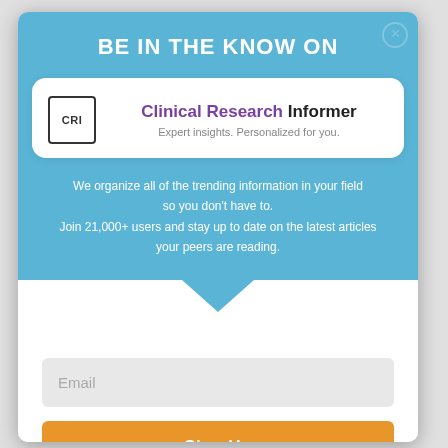BE IN THE KNOW ON
[Figure (logo): CRI logo — square border with 'CRI' text inside]
Clinical Research Informer
Expert insights. Personalized for you.
We organize all of the trending information in your field so you don't have to. Join 21,000+ users and stay up to date on the latest articles your peers are reading.
Email
Sign Up